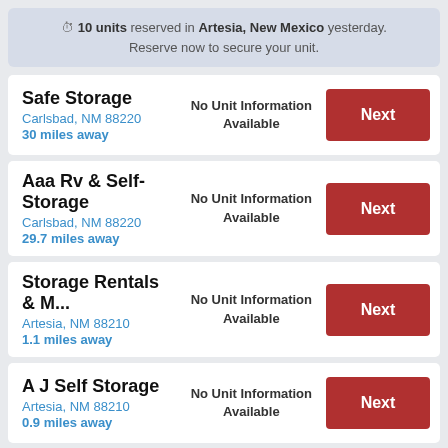🕐 10 units reserved in Artesia, New Mexico yesterday. Reserve now to secure your unit.
Safe Storage | Carlsbad, NM 88220 | 30 miles away | No Unit Information Available | Next
Aaa Rv & Self-Storage | Carlsbad, NM 88220 | 29.7 miles away | No Unit Information Available | Next
Storage Rentals & M... | Artesia, NM 88210 | 1.1 miles away | No Unit Information Available | Next
A J Self Storage | Artesia, NM 88210 | 0.9 miles away | No Unit Information Available | Next